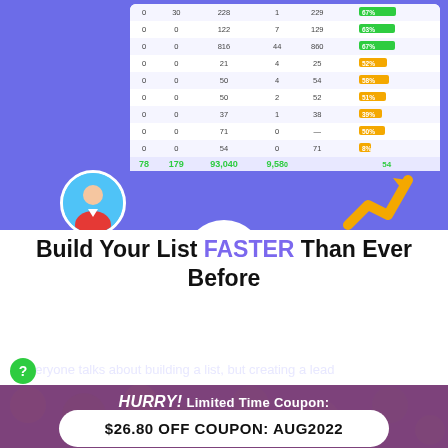[Figure (screenshot): Screenshot of a table/dashboard showing list building statistics with columns for various numeric metrics and colored progress bars (green, yellow, gray). Bottom row shows totals: 78, 179, 93,040, 9,580, 30, 102,620. A circular avatar of a person in red shirt appears bottom-left of screenshot area. A yellow arrow trending upward appears on the right.]
Build Your List FASTER Than Ever Before
Everyone talks about building a list, but creating a lead
[Figure (infographic): HURRY! Limited Time Coupon countdown timer showing Day 5, Hour 16, Min 47, Sec 20 with crowd background faces]
$26.80 OFF COUPON: AUG2022